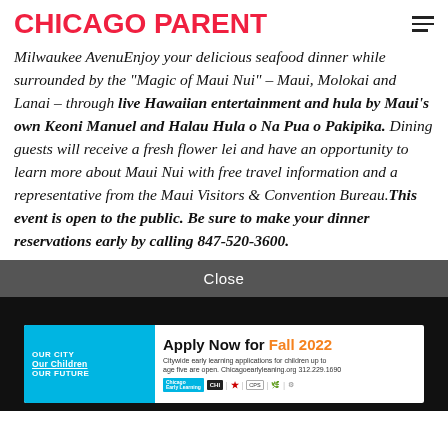CHICAGO PARENT
Milwaukee AvenuEnjoy your delicious seafood dinner while surrounded by the “Magic of Maui Nui” – Maui, Molokai and Lanai – through live Hawaiian entertainment and hula by Maui’s own Keoni Manuel and Halau Hula o Na Pua o Pakipika. Dining guests will receive a fresh flower lei and have an opportunity to learn more about Maui Nui with free travel information and a representative from the Maui Visitors & Convention Bureau. This event is open to the public. Be sure to make your dinner reservations early by calling 847-520-3600.
Close
[Figure (infographic): Advertisement: Apply Now for Fall 2022 - Citywide early learning applications for children up to age five are open. Chicagoearlyleaning.org 312.229.1690. OUR CITY Our Children OUR FUTURE logos including Chicago Early Learning, CHI, star, and other icons.]